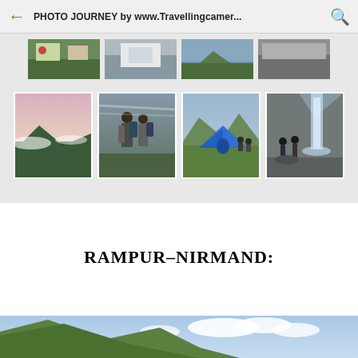PHOTO JOURNEY by www.Travellingcamer...
[Figure (photo): A grid of travel/trekking photos showing mountain landscapes, trekkers with backpacks, a blue tent at a campsite, and people near a waterfall. Top row partially visible. Bottom row shows four full thumbnails.]
RAMPUR–NIRMAND:
[Figure (photo): A mountain landscape photo showing green hills and a blue sky with white clouds, partially visible at the bottom of the page.]